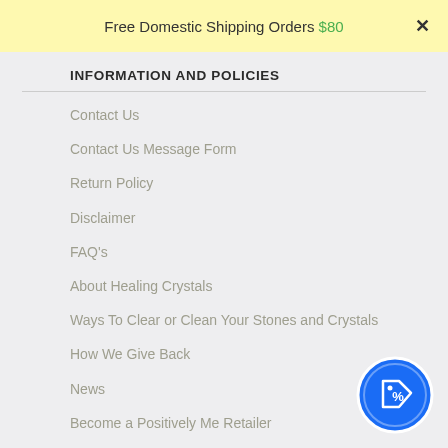Free Domestic Shipping Orders $80
INFORMATION AND POLICIES
Contact Us
Contact Us Message Form
Return Policy
Disclaimer
FAQ's
About Healing Crystals
Ways To Clear or Clean Your Stones and Crystals
How We Give Back
News
Become a Positively Me Retailer
[Figure (illustration): Blue circular discount badge with a price tag icon and percent symbol]